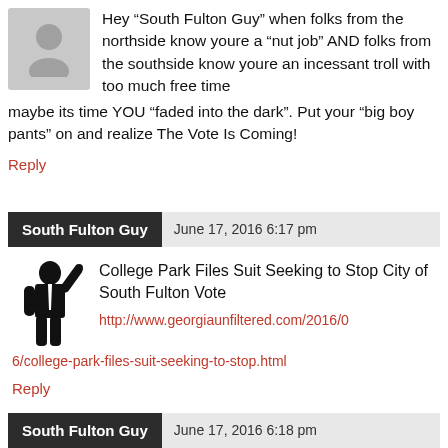[Figure (illustration): Grey placeholder avatar icon showing a person silhouette]
Hey “South Fulton Guy” when folks from the northside know youre a “nut job” AND folks from the southside know youre an incessant troll with too much free time maybe its time YOU “faded into the dark”. Put your “big boy pants” on and realize The Vote Is Coming!
Reply
South Fulton Guy   June 17, 2016 6:17 pm
[Figure (illustration): Black silhouette of a person in business attire pointing with one finger]
College Park Files Suit Seeking to Stop City of South Fulton Vote
http://www.georgiaunfiltered.com/2016/06/college-park-files-suit-seeking-to-stop.html
Reply
South Fulton Guy   June 17, 2016 6:18 pm